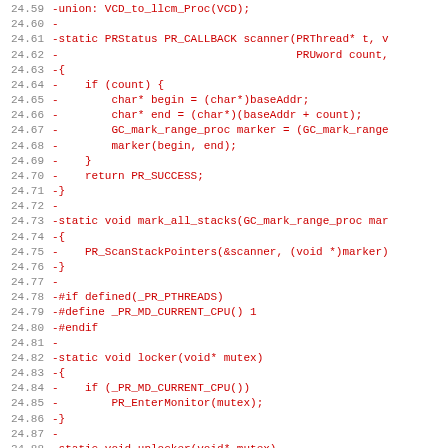Code diff showing removed lines from 24.59 to 24.91 including a scanner function, mark_all_stacks function, preprocessor directives for _PR_PTHREADS, locker and unlocker functions.